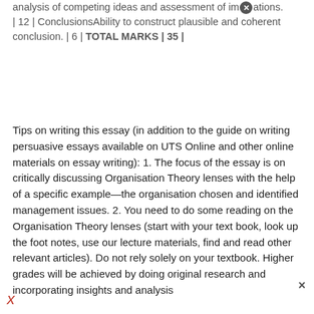analysis of competing ideas and assessment of implications. | 12 | ConclusionsAbility to construct plausible and coherent conclusion. | 6 | TOTAL MARKS | 35 |
Tips on writing this essay (in addition to the guide on writing persuasive essays available on UTS Online and other online materials on essay writing): 1. The focus of the essay is on critically discussing Organisation Theory lenses with the help of a specific example—the organisation chosen and identified management issues. 2. You need to do some reading on the Organisation Theory lenses (start with your text book, look up the foot notes, use our lecture materials, find and read other relevant articles). Do not rely solely on your textbook. Higher grades will be achieved by doing original research and incorporating insights and analysis